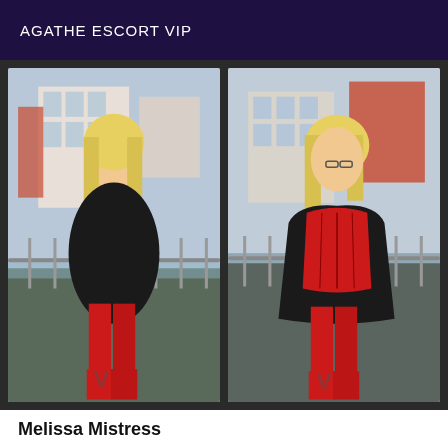AGATHE ESCORT VIP
[Figure (photo): Two side-by-side photos of a blonde woman wearing a black fur coat and red thigh-high boots, posed against a railing near a waterway with buildings in the background. In the left photo she wears red leather trousers; in the right photo she wears a red corset. Both photos have a 'V' watermark at the bottom.]
Melissa Mistress